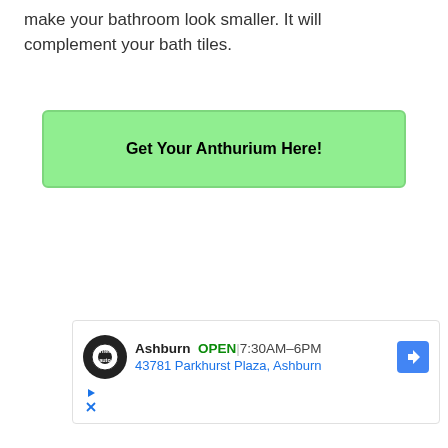make your bathroom look smaller. It will complement your bath tiles.
Get Your Anthurium Here!
[Figure (other): Advertisement banner for Tires Auto store in Ashburn showing logo, OPEN status, hours 7:30AM-6PM, address 43781 Parkhurst Plaza Ashburn, navigation arrow icon, and ad controls icons.]